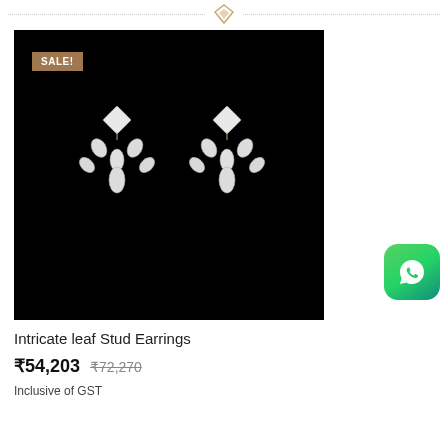[Figure (photo): Diamond stud earrings with intricate leaf design featuring multiple pear-shaped and square-cut diamonds in rose gold setting, displayed against black background. A SALE! badge is visible in the top left corner.]
Intricate leaf Stud Earrings
₹54,203  ₹72,270
Inclusive of GST